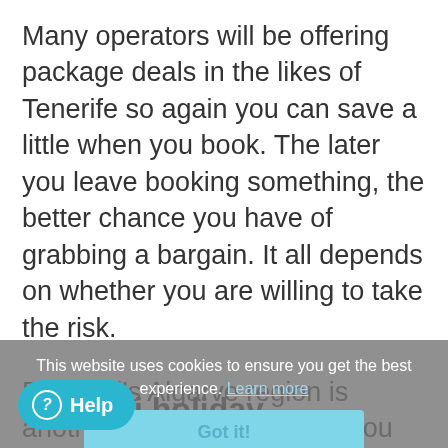Many operators will be offering package deals in the likes of Tenerife so again you can save a little when you book. The later you leave booking something, the better chance you have of grabbing a bargain. It all depends on whether you are willing to take the risk.
Portugal's Algarve region is another similar area where you can spend a few sunny days this February. While not as hot as the Canaries, it will still offer you better weather than at home!
This website uses cookies to ensure you get the best experience. Learn more
Got it!
nute ski holiday